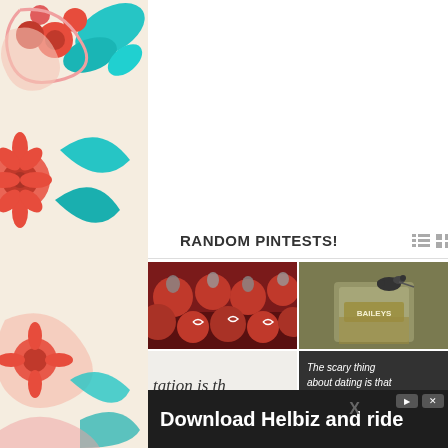[Figure (illustration): Decorative floral border on the left side with red, teal, and pink swirling flower motifs]
[Figure (illustration): Decorative floral border on the right side with teal leaves and red flower motifs]
RANDOM PINTESTS!
[Figure (photo): Four photos in a 2x2 grid: top-left shows red cookies with Hershey kisses on a baking sheet, bottom-left shows red velvet cookies on a plate, top-right shows a Baileys glass with a rat on the rim, bottom-right shows a black and white photo with text 'The scary thing about dating is that you are either going' overlaid]
[Figure (photo): Advertisement banner: Download Helbiz and ride]
Download Helbiz and ride